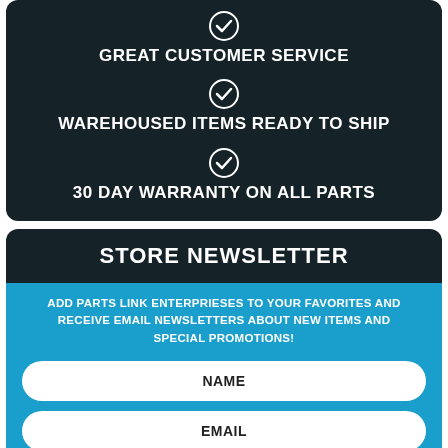GREAT CUSTOMER SERVICE
WAREHOUSED ITEMS READY TO SHIP
30 DAY WARRANTY ON ALL PARTS
STORE NEWSLETTER
ADD PARTS LINK ENTERPRIESES TO YOUR FAVORITES AND RECEIVE EMAIL NEWSLETTERS ABOUT NEW ITEMS AND SPECIAL PROMOTIONS!